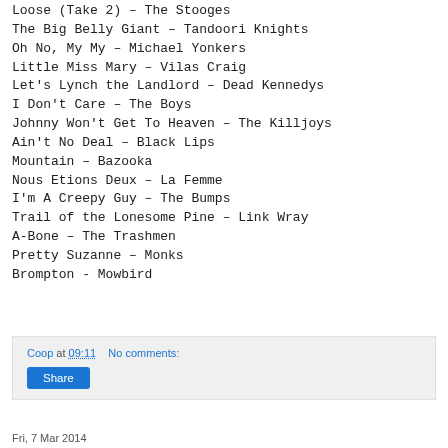Loose (Take 2) – The Stooges
The Big Belly Giant – Tandoori Knights
Oh No, My My – Michael Yonkers
Little Miss Mary – Vilas Craig
Let's Lynch the Landlord – Dead Kennedys
I Don't Care – The Boys
Johnny Won't Get To Heaven – The Killjoys
Ain't No Deal – Black Lips
Mountain – Bazooka
Nous Etions Deux – La Femme
I'm A Creepy Guy – The Bumps
Trail of the Lonesome Pine – Link Wray
A-Bone – The Trashmen
Pretty Suzanne – Monks
Brompton - Mowbird
Coop at 09:11   No comments:
Share
Fri, 7 Mar 2014